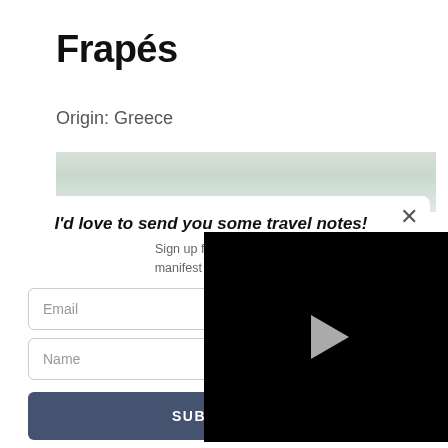Frapés
Origin: Greece
[Figure (photo): Partial view of a food/drink photo strip at the top of the article]
I'd love to send you some travel notes!
Sign up for my newsletter and manifest more travel and
Email
Name
SUBSCRIBE
[Figure (screenshot): Black video player overlay with a white play button triangle in the center]